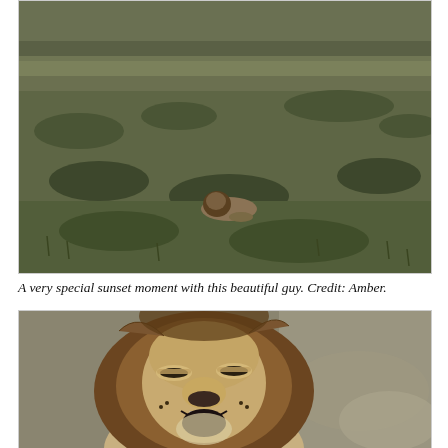[Figure (photo): A lion resting in open savanna grassland at sunset, viewed from a distance. The landscape shows dry scrubby grass and bushes under a dim sky.]
A very special sunset moment with this beautiful guy. Credit: Amber.
[Figure (photo): Close-up portrait of a male lion with a full mane, mouth open showing teeth, eyes partially closed, set against dry grassland background.]